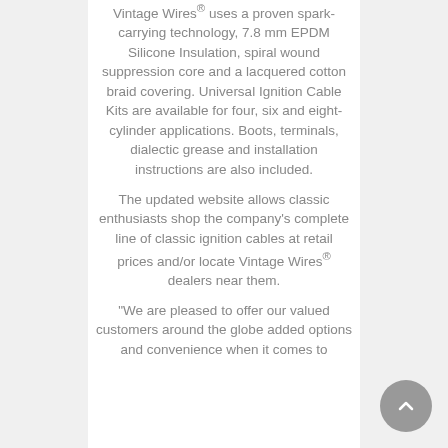Vintage Wires® uses a proven spark-carrying technology, 7.8 mm EPDM Silicone Insulation, spiral wound suppression core and a lacquered cotton braid covering. Universal Ignition Cable Kits are available for four, six and eight-cylinder applications. Boots, terminals, dialectic grease and installation instructions are also included.
The updated website allows classic enthusiasts shop the company's complete line of classic ignition cables at retail prices and/or locate Vintage Wires® dealers near them.
“We are pleased to offer our valued customers around the globe added options and convenience when it comes to